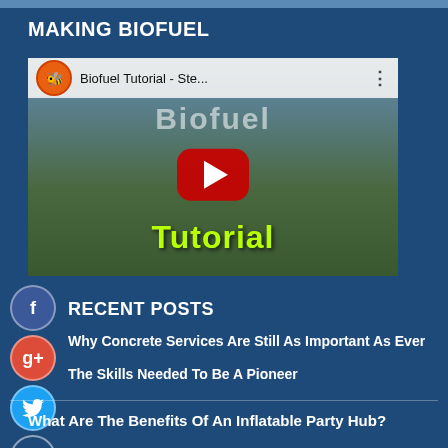MAKING BIOFUEL
[Figure (screenshot): Embedded YouTube video thumbnail showing 'Biofuel Tutorial - Ste...' with a Minecraft-style game scene, YouTube play button, and 'Tutorial' text overlay in green]
[Figure (infographic): Social media share buttons: Facebook (blue circle with f), Google+ (red circle with g+), Twitter (blue circle with bird), Add (circle with +)]
RECENT POSTS
Why Concrete Services Are Still As Important As Ever
The Skills Needed To Be A Pioneer
What Are The Benefits Of An Inflatable Party Hub?